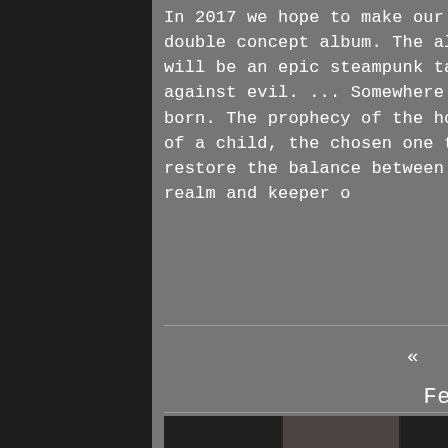In 2017 we hope to make our dream come through with a release of a double concept album. The album will be titled, 'Alyssa Drone'. It will be an epic steampunk tale of a pirate Queen and her battle against evil. ... Somewhere in time, a world far away, a child is born. The prophecy of the holy men has finally come true. The birth of a child, the chosen one that one day would be queen, and to restore the balance between light and darkness. A protector of the realm and keeper o
1/4
Featured Posts
[Figure (photo): Strip of dark thumbnail images at the bottom of the page]